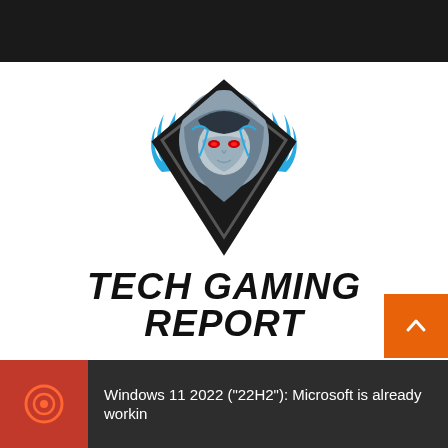[Figure (logo): Tech Gaming Report logo: hooded figure with red eyes inside a diamond shape with blue flames, above bold italic text 'TECH GAMING REPORT']
Windows 11 2022 ("22H2"): Microsoft is already workin